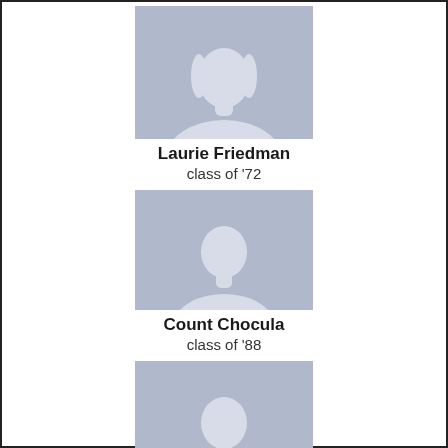[Figure (illustration): Generic female silhouette placeholder avatar, gray-blue background]
Laurie Friedman
class of '72
[Figure (illustration): Generic male silhouette placeholder avatar, gray-blue background]
Count Chocula
class of '88
[Figure (illustration): Generic male silhouette placeholder avatar, gray-blue background]
Steven Mahler
class of '72
[Figure (illustration): Generic male silhouette placeholder avatar, gray-blue background, partially visible]